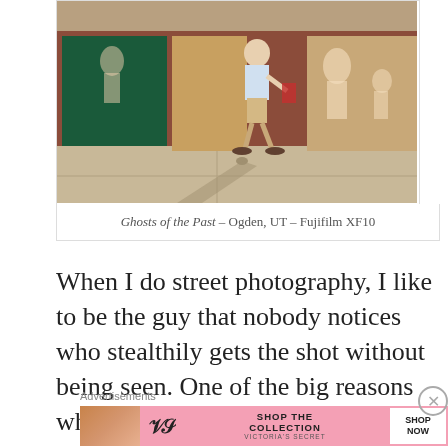[Figure (photo): Street photography photo showing a man walking past a brick building with silhouette figures in the windows, casting a long shadow on the sidewalk. Location: Ogden, UT.]
Ghosts of the Past – Ogden, UT – Fujifilm XF10
When I do street photography, I like to be the guy that nobody notices who stealthily gets the shot without being seen. One of the big reasons why I do this is fear, but I tell myself
Advertisements
[Figure (photo): Victoria's Secret advertisement banner showing a model on the left, VS logo in center-left, 'SHOP THE COLLECTION' text in center, and 'SHOP NOW' button on the right. Pink background.]